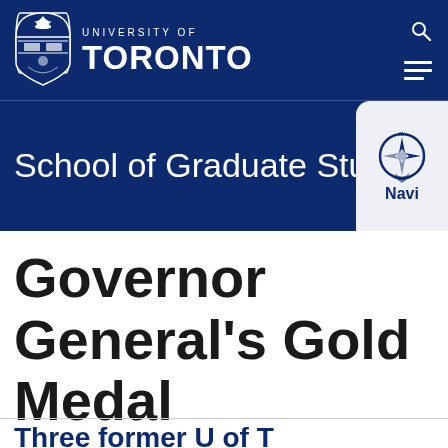[Figure (logo): University of Toronto crest/shield logo in white on dark navy background]
UNIVERSITY OF TORONTO
School of Graduate Studies
[Figure (logo): Navigator compass and hand logo with label 'Navi' — navigation tool icon]
Governor General's Gold Medal
Three former U of T